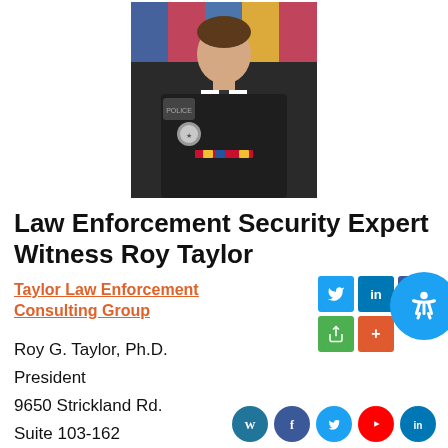[Figure (photo): Portrait photo of Roy Taylor in dark law enforcement uniform with badge, medals, and decorative flags in background]
Law Enforcement Security Expert Witness Roy Taylor
Taylor Law Enforcement Consulting Group
Roy G. Taylor, Ph.D.
President
9650 Strickland Rd.
Suite 103-162